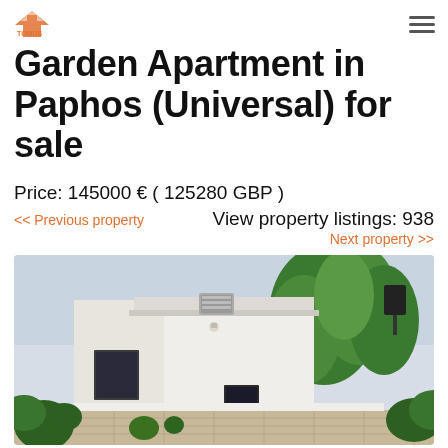Garden Apartment in Paphos (Universal) for sale
Garden Apartment in Paphos (Universal) for sale
Price: 145000 € ( 125280 GBP )
<< Previous property
View property listings: 938
Next property >>
[Figure (photo): Exterior photo of a white garden apartment building with a balcony and air conditioning unit, surrounded by large green trees and palm plants, with a decorative stone-paved driveway/courtyard in front.]